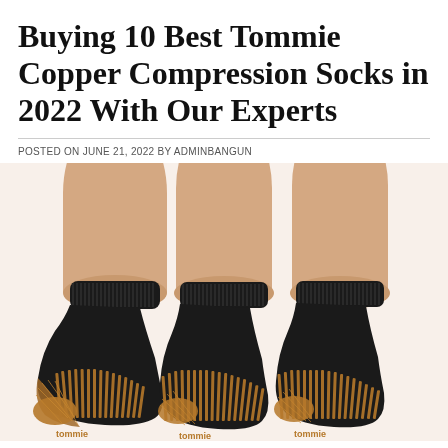Buying 10 Best Tommie Copper Compression Socks in 2022 With Our Experts
POSTED ON JUNE 21, 2022 BY ADMINBANGUN
[Figure (photo): Three black and copper-colored Tommie Copper compression socks worn on feet against a white background, shown from the side. The socks feature copper-colored striped pattern on the sole and heel area.]